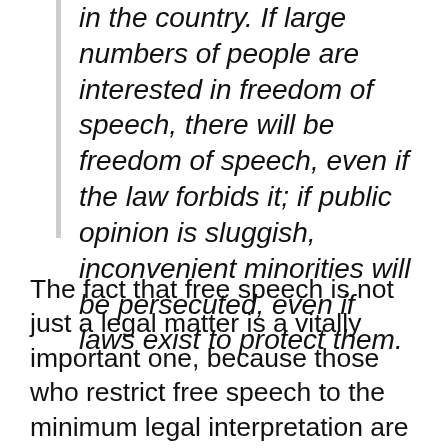in the country. If large numbers of people are interested in freedom of speech, there will be freedom of speech, even if the law forbids it; if public opinion is sluggish, inconvenient minorities will be persecuted, even if laws exist to protect them.
The fact that free speech is not just a legal matter is a vitally important one, because those who restrict free speech to the minimum legal interpretation are actively undermining—wittingly or not—the culture that actual free speech depends on.